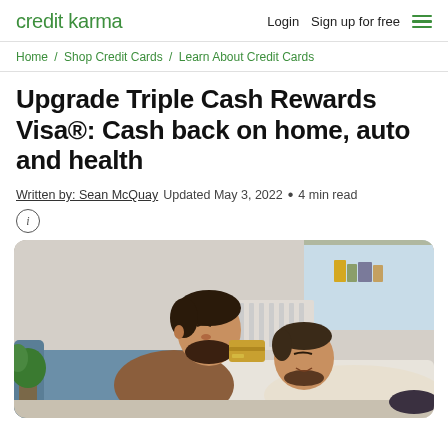credit karma | Login | Sign up for free
Home / Shop Credit Cards / Learn About Credit Cards
Upgrade Triple Cash Rewards Visa®: Cash back on home, auto and health
Written by: Sean McQuay  Updated May 3, 2022  • 4 min read
[Figure (photo): Two men relaxing on a couch together, one holding a credit card near the other's head, in a cozy home setting.]